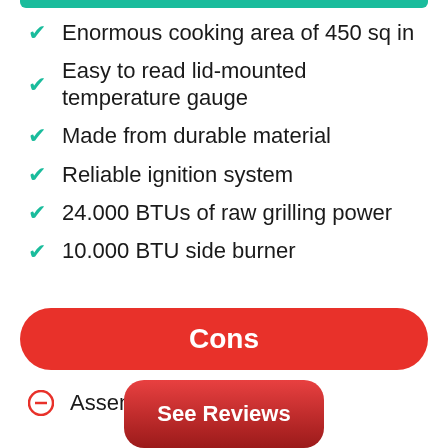Enormous cooking area of 450 sq in
Easy to read lid-mounted temperature gauge
Made from durable material
Reliable ignition system
24.000 BTUs of raw grilling power
10.000 BTU side burner
Cons
Assembly is a bit tricky
See Reviews